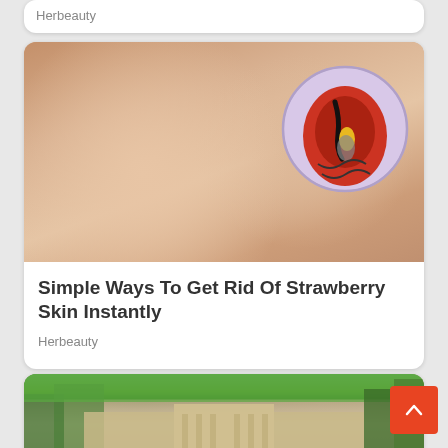Herbeauty
[Figure (photo): Close-up photo of human legs with strawberry skin condition; medical diagram circle overlay in top right showing hair follicle cross-section]
Simple Ways To Get Rid Of Strawberry Skin Instantly
Herbeauty
[Figure (photo): Aerial photograph of Buckingham Palace and surrounding grounds with green lawn visible]
[Figure (other): Scroll-to-top button (red square with upward chevron arrow)]